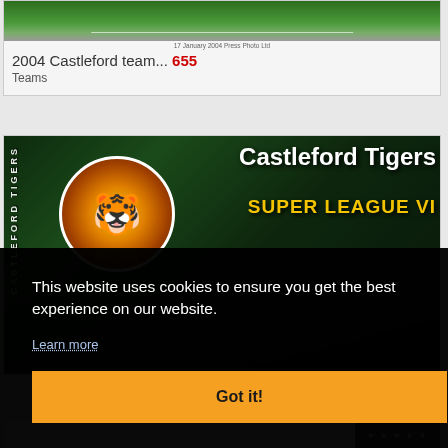[Figure (photo): Aerial view of a football/rugby pitch with green grass, partial view of a stadium.]
17 January 2004 Press Photo Ltd
2004 Castleford team... 655
Teams
[Figure (photo): Castleford Tigers Super League VI promotional banner image featuring tiger mascot logo and text.]
This website uses cookies to ensure you get the best experience on our website.
Learn more
Got it!